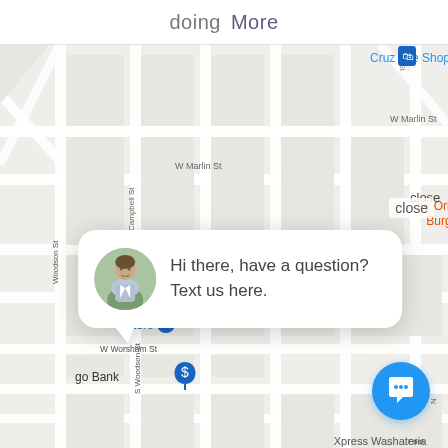doing  More
[Figure (map): Google Maps screenshot showing street map of Republic Grand Ranch area with markers for Cruz Tire Shop, Advance Auto Parts, The Original Super Burger Willis, Pizza Shack, Store, go Bank, Subway, Xpress Washateria. Streets visible: W Marlin St, N Campbell St, Woodson St, S Woodson St, W Worsham St, W Watson St, W Mink St, W Mor St.]
Hi there, have a question? Text us here.